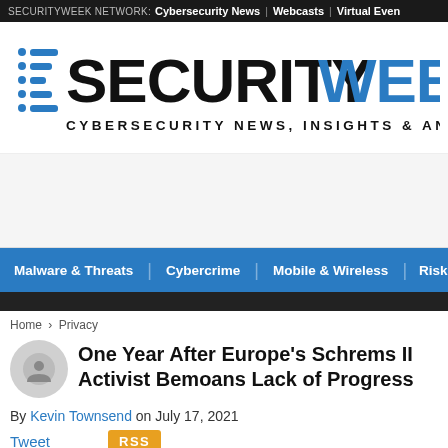SECURITYWEEK NETWORK: Cybersecurity News | Webcasts | Virtual Even
[Figure (logo): SecurityWeek logo with shield/speed lines icon, text 'SECURITY' in black bold and 'WEEK' in blue bold, tagline 'CYBERSECURITY NEWS, INSIGHTS & ANALYSIS']
Malware & Threats | Cybercrime | Mobile & Wireless | Risk & Complia
Home › Privacy
One Year After Europe's Schrems II Activist Bemoans Lack of Progress
By Kevin Townsend on July 17, 2021
Tweet    RSS